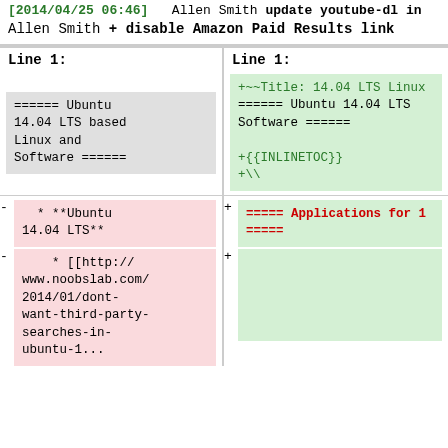[2014/04/25 06:46] Allen Smith update youtube-dl in Allen Smith + disable Amazon Paid Results link
Line 1: (left column) ====== Ubuntu 14.04 LTS based Linux and Software ======
Line 1: (right column) +~~Title: 14.04 LTS Linux ====== Ubuntu 14.04 LTS Software ====== +{{INLINETOC}} +\
- * **Ubuntu 14.04 LTS** - * [[http://www.noobslab.com/2014/01/dont-want-third-party-searches-in-ubuntu-1... (left)
+===== Applications for 1 ===== + (right)